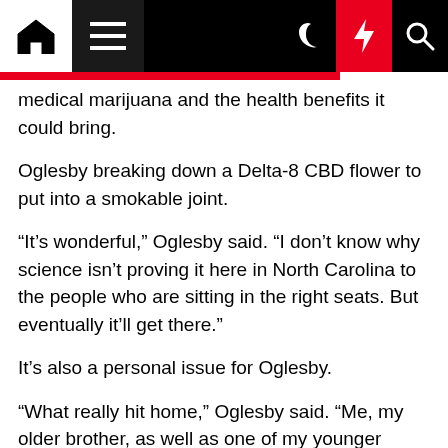Navigation bar with home, menu, moon, lightning, and search icons
medical marijuana and the health benefits it could bring.
Oglesby breaking down a Delta-8 CBD flower to put into a smokable joint.
“It’s wonderful,” Oglesby said. “I don’t know why science isn’t proving it here in North Carolina to the people who are sitting in the right seats. But eventually it’ll get there.”
It’s also a personal issue for Oglesby.
“What really hit home,” Oglesby said. “Me, my older brother, as well as one of my younger brothers, were in the military. He passed away in 2014 unfortunately,” Oglesby said of his brother. “Not due to anything in the military, but cancer.”